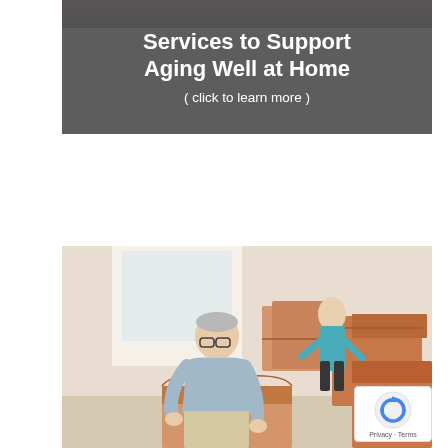[Figure (photo): Banner image with gray overlay showing text 'Services to Support Aging Well at Home ( click to learn more )' over a photo of elderly people]
[Figure (photo): Photo of an elderly man bending over cardboard moving boxes in a bright room, with an elderly woman in the background also handling boxes]